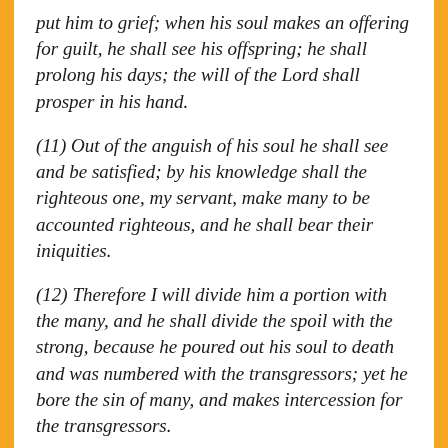put him to grief; when his soul makes an offering for guilt, he shall see his offspring; he shall prolong his days; the will of the Lord shall prosper in his hand.
(11) Out of the anguish of his soul he shall see and be satisfied; by his knowledge shall the righteous one, my servant, make many to be accounted righteous, and he shall bear their iniquities.
(12) Therefore I will divide him a portion with the many, and he shall divide the spoil with the strong, because he poured out his soul to death and was numbered with the transgressors; yet he bore the sin of many, and makes intercession for the transgressors.
John 6:38 (ESV) — “For I have come down from heaven, not to do my own will but the will of him who sent me.”